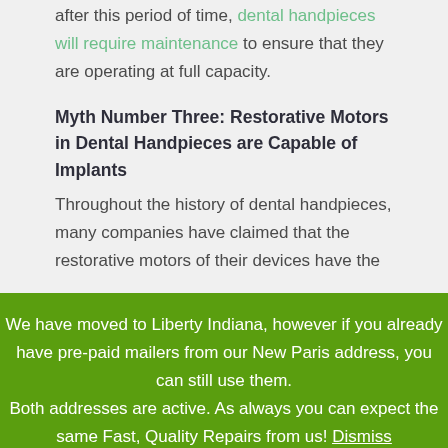after this period of time, dental handpieces will require maintenance to ensure that they are operating at full capacity.
Myth Number Three: Restorative Motors in Dental Handpieces are Capable of Implants
Throughout the history of dental handpieces, many companies have claimed that the restorative motors of their devices have the
We have moved to Liberty Indiana, however if you already have pre-paid mailers from our New Paris address, you can still use them. Both addresses are active. As always you can expect the same Fast, Quality Repairs from us! Dismiss